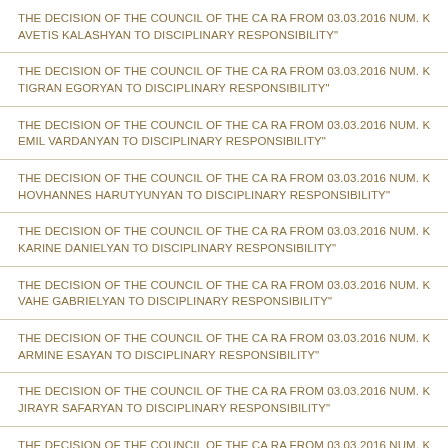THE DECISION OF THE COUNCIL OF THE CA RA from 03.03.2016 num. KG... AVETIS KALASHYAN TO DISCIPLINARY RESPONSIBILITY"
THE DECISION OF THE COUNCIL OF THE CA RA from 03.03.2016 num. KG... TIGRAN EGORYAN TO DISCIPLINARY RESPONSIBILITY"
THE DECISION OF THE COUNCIL OF THE CA RA from 03.03.2016 num. KG... EMIL VARDANYAN TO DISCIPLINARY RESPONSIBILITY"
THE DECISION OF THE COUNCIL OF THE CA RA from 03.03.2016 num. KG... HOVHANNES HARUTYUNYAN TO DISCIPLINARY RESPONSIBILITY"
THE DECISION OF THE COUNCIL OF THE CA RA from 03.03.2016 num. KG... KARINE DANIELYAN TO DISCIPLINARY RESPONSIBILITY"
THE DECISION OF THE COUNCIL OF THE CA RA from 03.03.2016 num. KG... VAHE GABRIELYAN TO DISCIPLINARY RESPONSIBILITY"
THE DECISION OF THE COUNCIL OF THE CA RA from 03.03.2016 num. KG... ARMINE ESAYAN TO DISCIPLINARY RESPONSIBILITY"
THE DECISION OF THE COUNCIL OF THE CA RA from 03.03.2016 num. KG... JIRAYR SAFARYAN TO DISCIPLINARY RESPONSIBILITY"
THE DECISION OF THE COUNCIL OF THE CA RA from 03.03.2016 num. KG... MERUJAN NAZARYAN TO DISCIPLINARY RESPONSIBILITY"
THE DECISION OF THE COUNCIL OF THE CA RA from 03.03.2016 num. KG... ARMEN MUKHSIKAROYAN TO DISCIPLINARY RESPONSIBILITY"